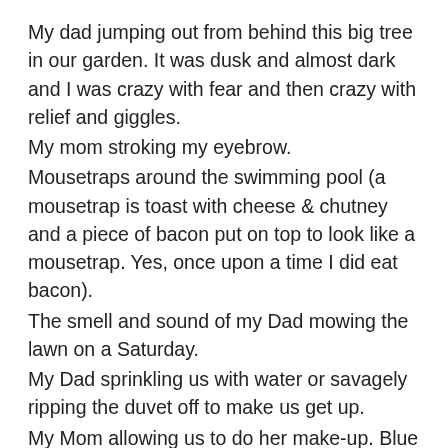My dad jumping out from behind this big tree in our garden. It was dusk and almost dark and I was crazy with fear and then crazy with relief and giggles.
My mom stroking my eyebrow.
Mousetraps around the swimming pool (a mousetrap is toast with cheese & chutney and a piece of bacon put on top to look like a mousetrap. Yes, once upon a time I did eat bacon).
The smell and sound of my Dad mowing the lawn on a Saturday.
My Dad sprinkling us with water or savagely ripping the duvet off to make us get up.
My Mom allowing us to do her make-up. Blue eye shadow….
Coffee in bed. Every morning.